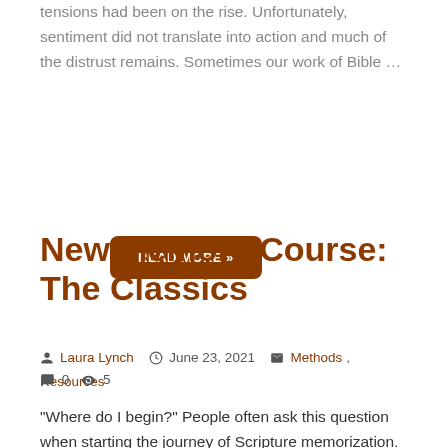tensions had been on the rise. Unfortunately, sentiment did not translate into action and much of the distrust remains. Sometimes our work of Bible …
READ MORE »
New Memory Course: The Classics
By Laura Lynch  June 23, 2021  Methods, Resources  0  5
"Where do I begin?" People often ask this question when starting the journey of Scripture memorization.